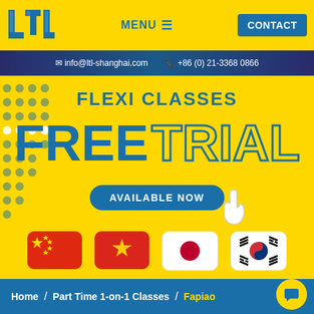[Figure (screenshot): LTL language school website screenshot showing Flexi Classes free trial promotion with flags for China, Vietnam, Japan, and South Korea]
MENU  CONTACT
info@ltl-shanghai.com  +86 (0) 21-3368 0866
FLEXI CLASSES
FREE TRIAL
AVAILABLE NOW
Home  /  Part Time 1-on-1 Classes  /  Fapiao